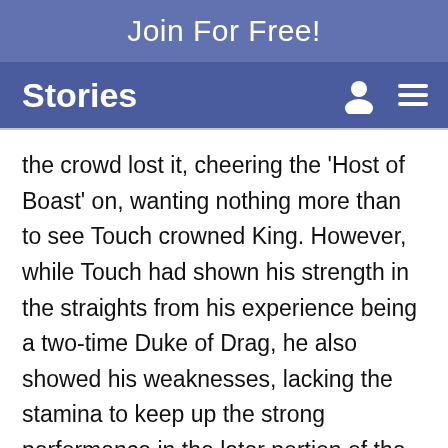Join For Free!
Stories
the crowd lost it, cheering the 'Host of Boast' on, wanting nothing more than to see Touch crowned King. However, while Touch had shown his strength in the straights from his experience being a two-time Duke of Drag, he also showed his weaknesses, lacking the stamina to keep up the strong performance in the later portion of the race.
Queen Stevie regained the lead in the Fourth Quarter and held on it for the victory. The crowd showed their respect by applauding with no hate